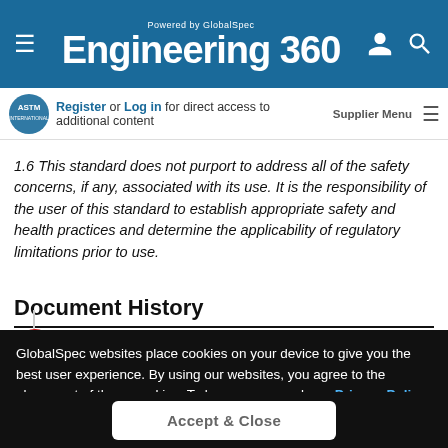Powered by GlobalSpec Engineering 360
Register or Log in for direct access to additional content  Supplier Menu
1.6 This standard does not purport to address all of the safety concerns, if any, associated with its use. It is the responsibility of the user of this standard to establish appropriate safety and health practices and determine the applicability of regulatory limitations prior to use.
Document History
GlobalSpec websites place cookies on your device to give you the best user experience. By using our websites, you agree to the placement of these cookies. To learn more, read our Privacy Policy
Accept & Close